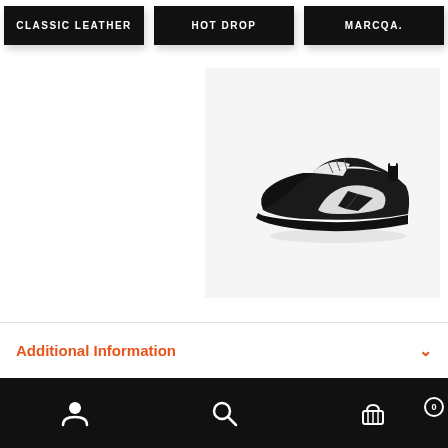CLASSIC LEATHER | HOT DROP | MARCQA.
[Figure (photo): Black and white Reebok sneaker (Classic Leather style) on a light gray background, viewed from the side. The shoe has a black upper with a white midsole and black outsole, featuring the Reebok vector logo in white on the side.]
Additional Information
Bottom navigation bar with user account icon, search icon, and shopping cart icon with badge showing 0